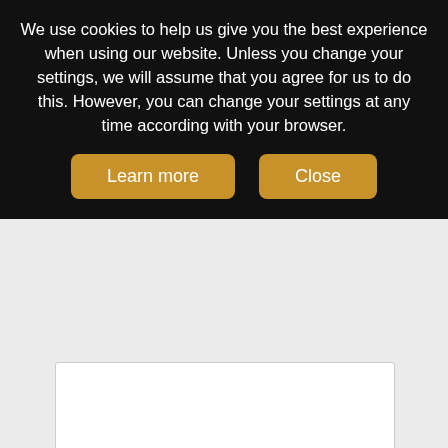We use cookies to help us give you the best experience when using our website. Unless you change your settings, we will assume that you agree for us to do this. However, you can change your settings at any time according with your browser.
Learn more
Close
[Figure (illustration): 3D illustration of a curved road roundabout with yellow and black construction barriers/bollards placed around and along the road segments]
ReVo